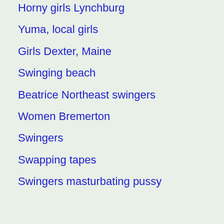Horny girls Lynchburg
Yuma, local girls
Girls Dexter, Maine
Swinging beach
Beatrice Northeast swingers
Women Bremerton
Swingers
Swapping tapes
Swingers masturbating pussy